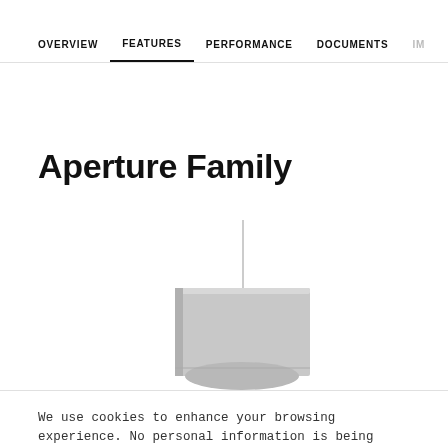OVERVIEW  FEATURES  PERFORMANCE  DOCUMENTS  IM...
Aperture Family
[Figure (photo): Two pendant light fixtures from the Aperture Family product line, shown hanging with cables, both in gray/silver finishes. Left fixture is a rectangular box shape, right fixture is a wider rounded rectangular shape.]
We use cookies to enhance your browsing experience. No personal information is being stored. To learn more, read our privacy policy.
OKAY